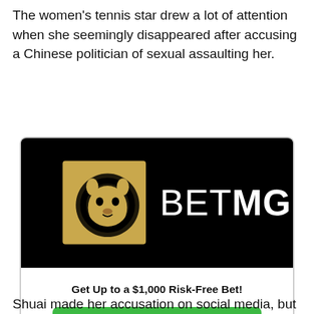The women's tennis star drew a lot of attention when she seemingly disappeared after accusing a Chinese politician of sexual assaulting her.
[Figure (logo): BetMGM advertisement banner on black background with lion logo and text BETMGM]
Get Up to a $1,000 Risk-Free Bet!
BET NOW
Shuai made her accusation on social media, but